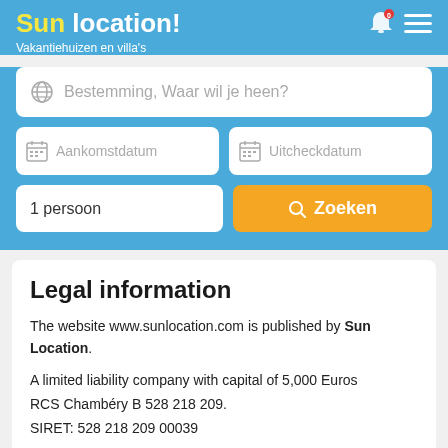Sun location! Vakantiehuizen en villa's
[Figure (screenshot): Search interface with destination input, arrival date, checkout date, persons count, and search button]
Legal information
The website www.sunlocation.com is published by Sun Location.
A limited liability company with capital of 5,000 Euros
RCS Chambéry B 528 218 209.
SIRET: 528 218 209 00039